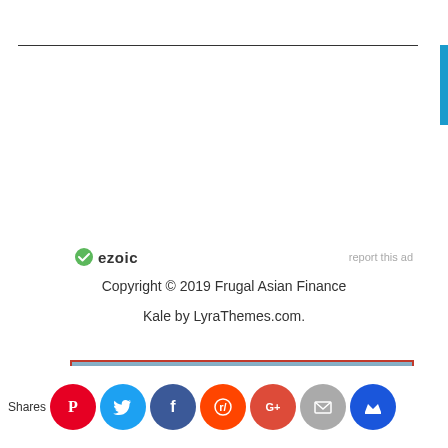[Figure (other): Ezoic logo with green circle check icon and bold 'ezoic' text, with 'report this ad' link on the right]
Copyright © 2019 Frugal Asian Finance
Kale by LyraThemes.com.
[Figure (photo): Advertisement banner with aerial city/landscape photo and text 'Your next hotel is...' on red-bordered background]
Shares
[Figure (infographic): Social sharing bar with circular icons: Pinterest (red), Twitter (blue), Facebook (dark blue), Reddit (orange), Google+ (red-orange), Email (grey), Crown (blue)]